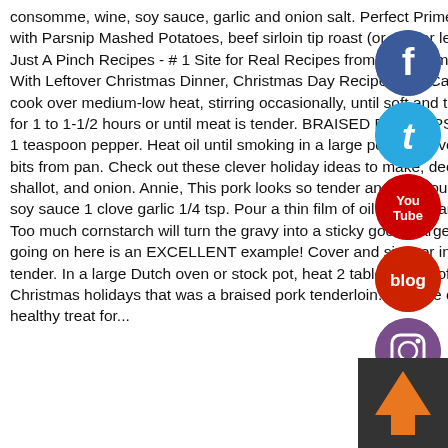consomme, wine, soy sauce, garlic and onion salt. Perfect Prime Rib Every Time (The Best Ever), Best Ever Pot Roast with Parsnip Mashed Potatoes, beef sirloin tip roast (or similar lean cut), cornstarch dissolved in about 1/4 cup water, Just A Pinch Recipes - # 1 Site for Real Recipes from Real Home Cooks, Show 13 Comments & Reviews, What to Do With Leftover Christmas Dinner, Christmas Day Recipes You Can Make in a Pressure Cooker. Add the shallots and cook over medium-low heat, stirring occasionally, until soft and translucent, 7 to 8 â€¦ Reduce heat, cover and simmer for 1 to 1-1/2 hours or until meat is tender. BRAISED BEEF TIPS : 2 tbsp. Add the apples, onions, 1 teaspoon salt and 1 teaspoon pepper. Heat oil until smoking in a large pot. Remove and set aside. Add wine, stirring to loosen browned bits from pan. Check out these clever holiday ideas to make, decorate and give for Hanukkah. Then add the garlic, shallot, and onion. Annie, This pork looks so tender and delicious, I can almost taste it through my computer screen. soy sauce 1 clove garlic 1/4 tsp. Pour a thin film of oil in skillet and sauté the onion, leek, shallot and garlic until tender. Too much cornstarch will turn the gravy into a sticky goo. 1 large sweet potato. Braised beef tips recipe. What you have going on here is an EXCELLENT example! Cover and simmer in the oven for 1 1/2 hours or until the meat is fork tender. In a large Dutch oven or stock pot, heat 2 tablespoons of oil over medium heat. I made a Polish recipe over the Christmas holidays that was a braised pork tenderloin. Get one of our beef tips recipe and prepare delicious and healthy treat for...
[Figure (illustration): Social media icon buttons: Facebook (blue circle with f), Twitter (blue circle with bird/t), YouTube (red circle with YouTube text), Blog (red circle with blog text), Instagram (purple circle with camera)]
[Figure (illustration): Dark gray box with orange upward-pointing arrow, used as a scroll-to-top button]